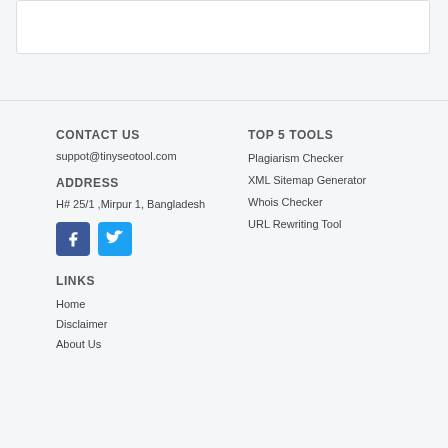[Figure (other): White rounded box at top of page]
CONTACT US
suppot@tinyseotool.com
ADDRESS
H# 25/1 ,Mirpur 1, Bangladesh
[Figure (other): Facebook and Twitter social media icon buttons]
LINKS
Home
Disclaimer
About Us
TOP 5 TOOLS
Plagiarism Checker
XML Sitemap Generator
Whois Checker
URL Rewriting Tool